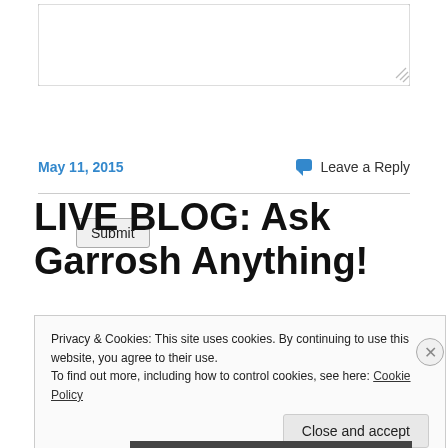[Figure (other): Textarea input box with resize handle]
Submit
May 11, 2015
Leave a Reply
LIVE BLOG: Ask Garrosh Anything!
Privacy & Cookies: This site uses cookies. By continuing to use this website, you agree to their use.
To find out more, including how to control cookies, see here: Cookie Policy
Close and accept